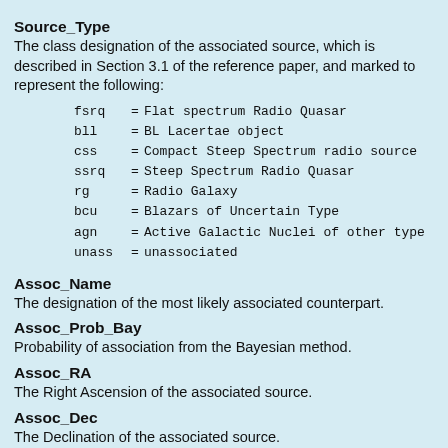Source_Type
The class designation of the associated source, which is described in Section 3.1 of the reference paper, and marked to represent the following:
fsrq = Flat spectrum Radio Quasar
bll = BL Lacertae object
css = Compact Steep Spectrum radio source
ssrq = Steep Spectrum Radio Quasar
rg = Radio Galaxy
bcu = Blazars of Uncertain Type
agn = Active Galactic Nuclei of other type
unass = unassociated
Assoc_Name
The designation of the most likely associated counterpart.
Assoc_Prob_Bay
Probability of association from the Bayesian method.
Assoc_RA
The Right Ascension of the associated source.
Assoc_Dec
The Declination of the associated source.